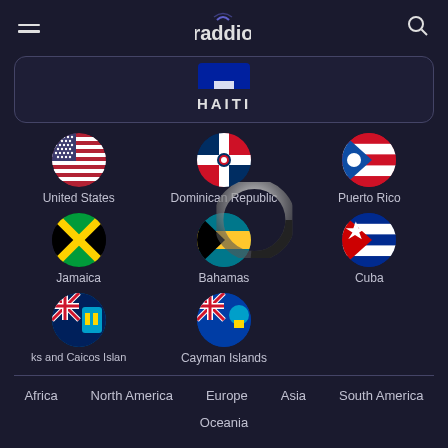raddio
HAITI
[Figure (screenshot): Grid of country flag circles with country names: United States, Dominican Republic, Puerto Rico, Jamaica, Bahamas, Cuba, Turks and Caicos Islands, Cayman Islands. A loading spinner overlay partially covers Bahamas.]
Africa
North America
Europe
Asia
South America
Oceania